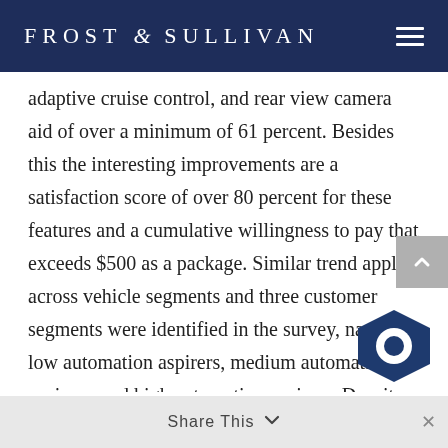FROST & SULLIVAN
adaptive cruise control, and rear view camera aid of over a minimum of 61 percent. Besides this the interesting improvements are a satisfaction score of over 80 percent for these features and a cumulative willingness to pay that exceeds $500 as a package. Similar trend applies across vehicle segments and three customer segments were identified in the survey, namely low automation aspirers, medium automation aspirers, and high automation aspirers. Despite the higher familiarity and satisfaction, the availability and uptake of features such as automatic emergency braking is between 25 and 30 percent in the market, leaving a lot of room to market and promote.
Share This